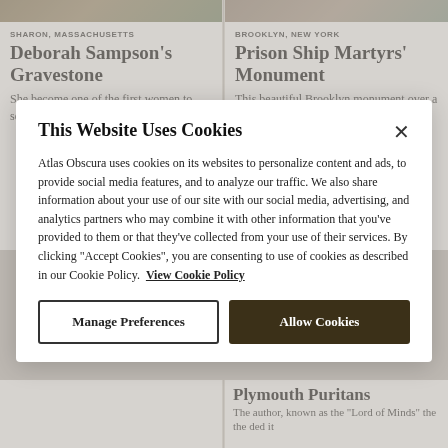SHARON, MASSACHUSETTS
Deborah Sampson's Gravestone
She become one of the first women to serve in the United
BROOKLYN, NEW YORK
Prison Ship Martyrs' Monument
This beautiful Brooklyn monument over a crypt
This Website Uses Cookies
Atlas Obscura uses cookies on its websites to personalize content and ads, to provide social media features, and to analyze our traffic. We also share information about your use of our site with our social media, advertising, and analytics partners who may combine it with other information that you've provided to them or that they've collected from your use of their services. By clicking "Accept Cookies", you are consenting to use of cookies as described in our Cookie Policy. View Cookie Policy
Manage Preferences
Allow Cookies
Plymouth Puritans
The author, known as the "Lord of Minds" the the ded it